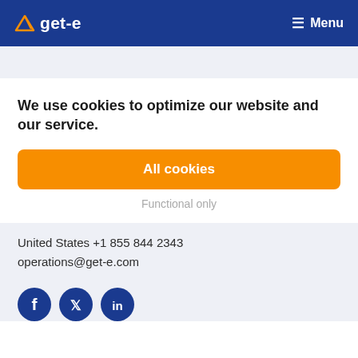get-e  Menu
We use cookies to optimize our website and our service.
All cookies
Functional only
United States +1 855 844 2343
operations@get-e.com
[Figure (other): Social media icons: Facebook, Twitter, LinkedIn]